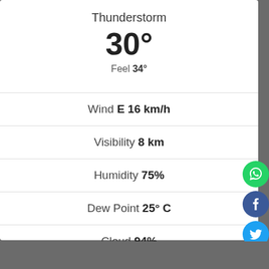Thunderstorm
30°
Feel 34°
Wind E 16 km/h
Visibility 8 km
Humidity 75%
Dew Point 25° C
Cloud 94%
Pressure ↑ 1005 mb
[Figure (illustration): Social sharing icons: WhatsApp (green), Facebook (blue), Twitter (light blue)]